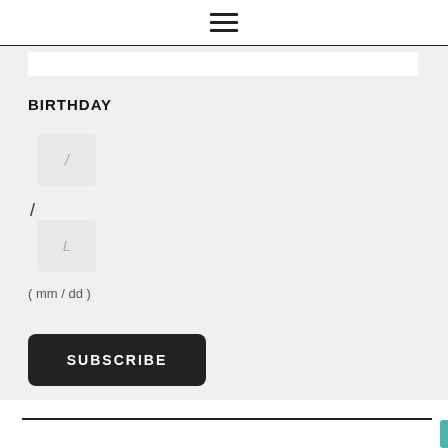☰ (hamburger menu icon)
BIRTHDAY
/
( mm / dd )
SUBSCRIBE